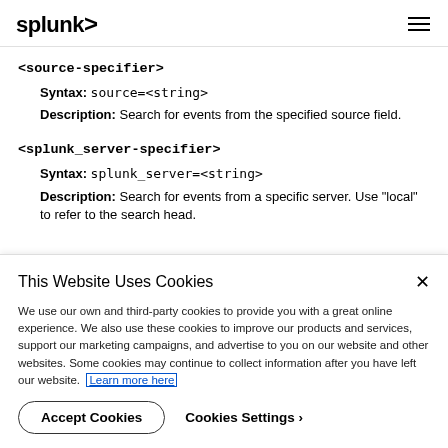splunk>
<source-specifier>
Syntax: source=<string>
Description: Search for events from the specified source field.
<splunk_server-specifier>
Syntax: splunk_server=<string>
Description: Search for events from a specific server. Use "local" to refer to the search head.
This Website Uses Cookies
We use our own and third-party cookies to provide you with a great online experience. We also use these cookies to improve our products and services, support our marketing campaigns, and advertise to you on our website and other websites. Some cookies may continue to collect information after you have left our website. Learn more here
Accept Cookies
Cookies Settings ›